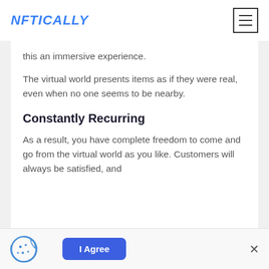NFTICALLY
this an immersive experience.
The virtual world presents items as if they were real, even when no one seems to be nearby.
Constantly Recurring
As a result, you have complete freedom to come and go from the virtual world as you like. Customers will always be satisfied, and
I Agree  ×